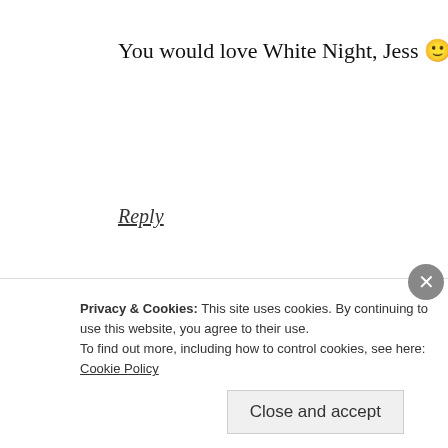You would love White Night, Jess 🙂
Reply
•••••••••
[Figure (photo): User avatar showing a palm tree with a suitcase on a tropical island, on a black background]
adinparadise
April 1, 2013 at 7:47 pm
Privacy & Cookies: This site uses cookies. By continuing to use this website, you agree to their use.
To find out more, including how to control cookies, see here: Cookie Policy
Close and accept